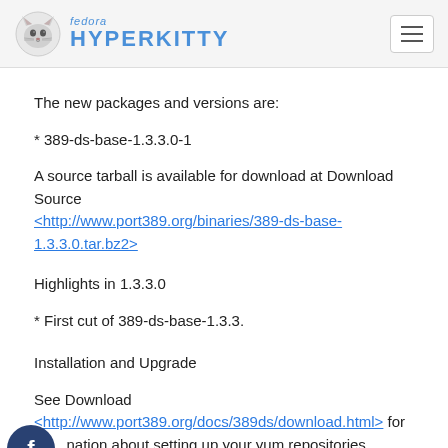fedora HYPERKITTY
The new packages and versions are:
* 389-ds-base-1.3.3.0-1
A source tarball is available for download at Download Source <http://www.port389.org/binaries/389-ds-base-1.3.3.0.tar.bz2>
Highlights in 1.3.3.0
* First cut of 389-ds-base-1.3.3.
Installation and Upgrade
See Download <http://www.port389.org/docs/389ds/download.html> for information about setting up your yum repositories.